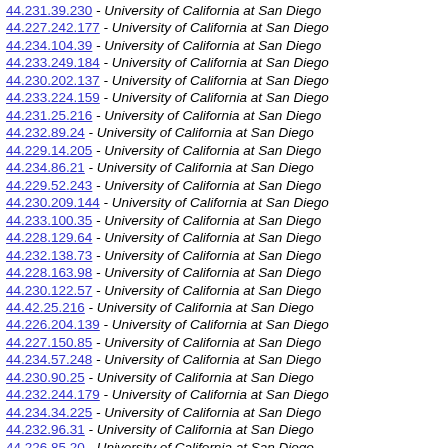44.231.39.230 - University of California at San Diego
44.227.242.177 - University of California at San Diego
44.234.104.39 - University of California at San Diego
44.233.249.184 - University of California at San Diego
44.230.202.137 - University of California at San Diego
44.233.224.159 - University of California at San Diego
44.231.25.216 - University of California at San Diego
44.232.89.24 - University of California at San Diego
44.229.14.205 - University of California at San Diego
44.234.86.21 - University of California at San Diego
44.229.52.243 - University of California at San Diego
44.230.209.144 - University of California at San Diego
44.233.100.35 - University of California at San Diego
44.228.129.64 - University of California at San Diego
44.232.138.73 - University of California at San Diego
44.228.163.98 - University of California at San Diego
44.230.122.57 - University of California at San Diego
44.42.25.216 - University of California at San Diego
44.226.204.139 - University of California at San Diego
44.227.150.85 - University of California at San Diego
44.234.57.248 - University of California at San Diego
44.230.90.25 - University of California at San Diego
44.232.244.179 - University of California at San Diego
44.234.34.225 - University of California at San Diego
44.232.96.31 - University of California at San Diego
44.226.85.20 - University of California at San Diego
44.234.8.199 - University of California at San Diego
44.234.42.233 - University of California at San Diego
44.234.47.238 - University of California at San Diego
44.228.130.65 - University of California at San Diego